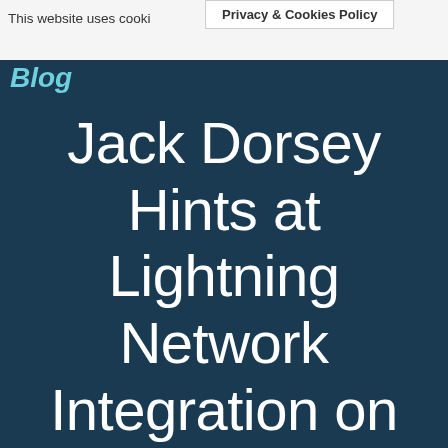This website uses cookies to improve your experience. We'll
Privacy & Cookies Policy
Blog
Jack Dorsey Hints at Lightning Network Integration on Twitter